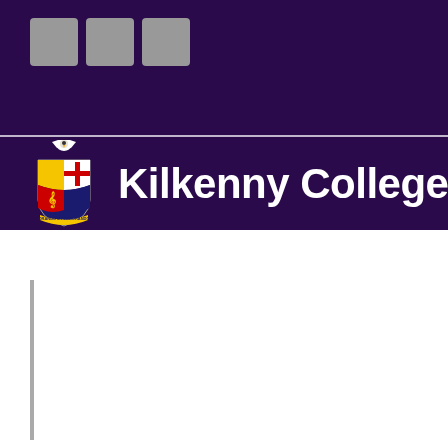[Figure (logo): Kilkenny College logo with crest and name on dark purple background with gray placeholder squares]
Kilkenny College